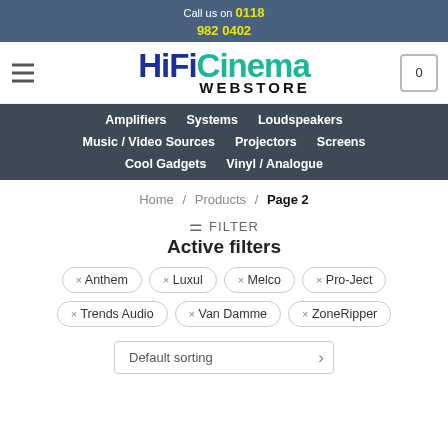Call us on 0118 982 0402
[Figure (logo): HiFi Cinema Webstore logo with hamburger menu icon and cart icon showing 0]
Amplifiers | Systems | Loudspeakers | Music / Video Sources | Projectors | Screens | Cool Gadgets | Vinyl / Analogue
Home / Products / Page 2
FILTER
Active filters
× Anthem
× Luxul
× Melco
× Pro-Ject
× Trends Audio
× Van Damme
× ZoneRipper
Default sorting